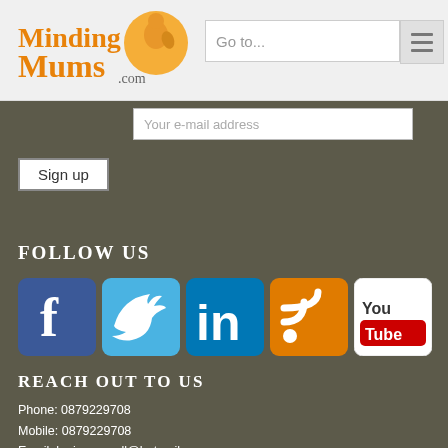[Figure (logo): MindingMums.com logo with orange figure and cursive text]
Go to...
Your e-mail address
Sign up
FOLLOW US
[Figure (infographic): Row of social media icons: Facebook, Twitter, LinkedIn, RSS feed, YouTube]
REACH OUT TO US
Phone: 0879229708
Mobile: 0879229708
Email: louise-carroll@hotmail.com